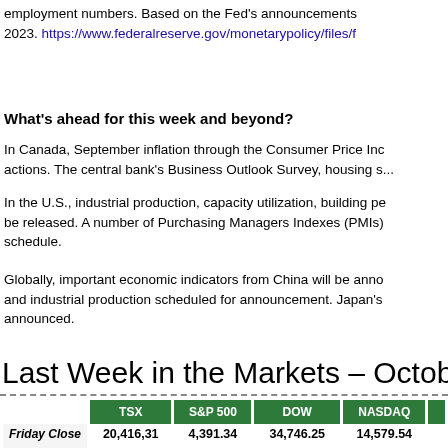employment numbers. Based on the Fed's announcements... 2023. https://www.federalreserve.gov/monetarypolicy/files/f
What's ahead for this week and beyond?
In Canada, September inflation through the Consumer Price Ind... actions. The central bank's Business Outlook Survey, housing s...
In the U.S., industrial production, capacity utilization, building pe... be released. A number of Purchasing Managers Indexes (PMIs)... schedule.
Globally, important economic indicators from China will be anno... and industrial production scheduled for announcement. Japan's... announced.
Last Week in the Markets – October
|  | TSX | S&P 500 | DOW | NASDAQ |  |
| --- | --- | --- | --- | --- | --- |
| Friday Close | 20,416,31 | 4,391.34 | 34,746.25 | 14,579.54 |  |
| week +/- | + 265.44 | + 34.30 | + 419.79 | +12.84 |  |